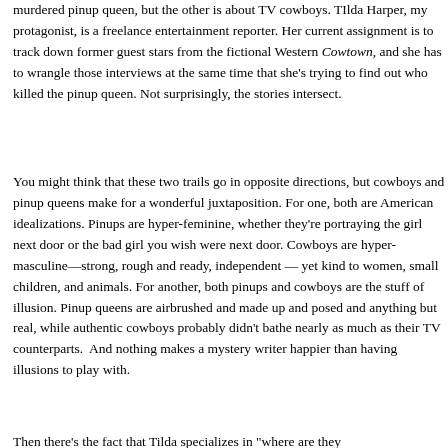murdered pinup queen, but the other is about TV cowboys. TIlda Harper, my protagonist, is a freelance entertainment reporter. Her current assignment is to track down former guest stars from the fictional Western Cowtown, and she has to wrangle those interviews at the same time that she's trying to find out who killed the pinup queen. Not surprisingly, the stories intersect.
You might think that these two trails go in opposite directions, but cowboys and pinup queens make for a wonderful juxtaposition. For one, both are American idealizations. Pinups are hyper-feminine, whether they're portraying the girl next door or the bad girl you wish were next door. Cowboys are hyper-masculine—strong, rough and ready, independent — yet kind to women, small children, and animals. For another, both pinups and cowboys are the stuff of illusion. Pinup queens are airbrushed and made up and posed and anything but real, while authentic cowboys probably didn't bathe nearly as much as their TV counterparts.  And nothing makes a mystery writer happier than having illusions to play with.
Then there's the fact that Tilda specializes in "where are they